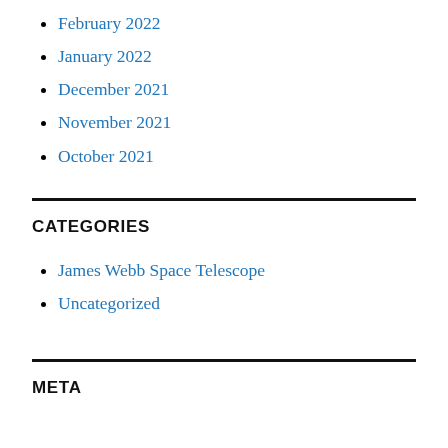February 2022
January 2022
December 2021
November 2021
October 2021
CATEGORIES
James Webb Space Telescope
Uncategorized
META